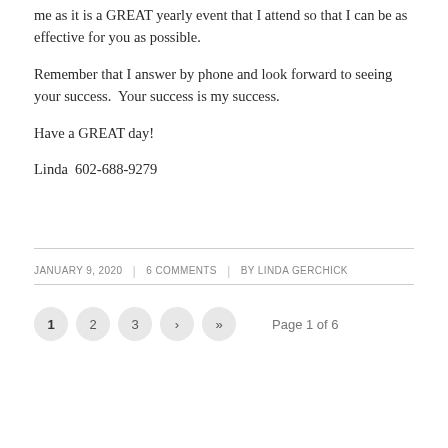me as it is a GREAT yearly event that I attend so that I can be as effective for you as possible.
Remember that I answer by phone and look forward to seeing your success.  Your success is my success.
Have a GREAT day!
Linda  602-688-9279
JANUARY 9, 2020 | 6 COMMENTS | BY LINDA GERCHICK
Page 1 of 6